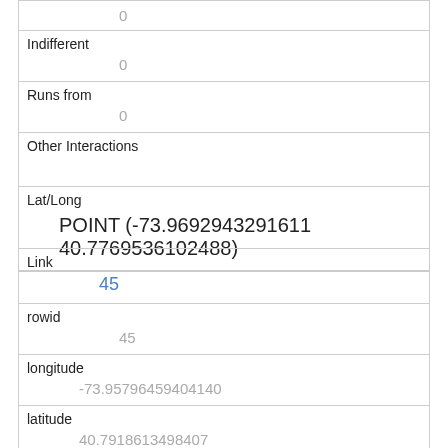| (top value) | 0 |
| Indifferent | 0 |
| Runs from | 0 |
| Other Interactions |  |
| Lat/Long | POINT (-73.9692943291611 40.7769536102488) |
| Link | 45 |
| rowid | 45 |
| longitude | -73.95796459404140 |
| latitude | 40.7918613498407 |
| Unique Squirrel ID | 34F-AM-1007-01 |
| Hectare |  |